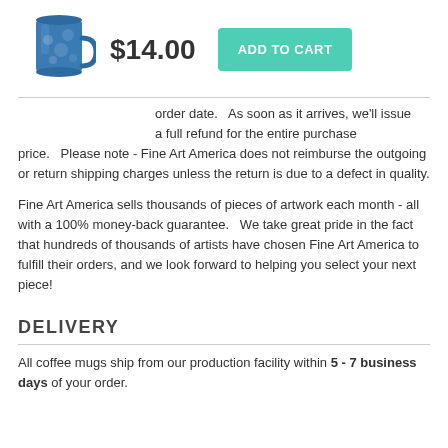[Figure (photo): Blue coffee mug with decorative pattern]
$14.00
ADD TO CART
order date.   As soon as it arrives, we'll issue a full refund for the entire purchase price.   Please note - Fine Art America does not reimburse the outgoing or return shipping charges unless the return is due to a defect in quality.
Fine Art America sells thousands of pieces of artwork each month - all with a 100% money-back guarantee.   We take great pride in the fact that hundreds of thousands of artists have chosen Fine Art America to fulfill their orders, and we look forward to helping you select your next piece!
DELIVERY
All coffee mugs ship from our production facility within 5 - 7 business days of your order.